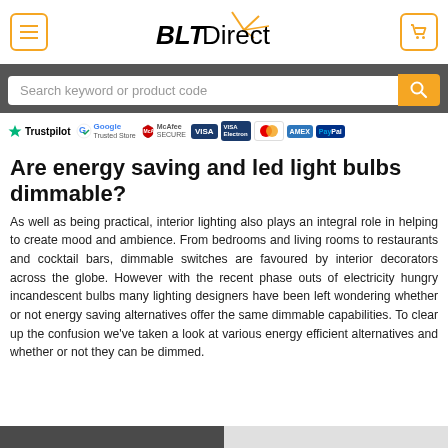BLT Direct
Search keyword or product code
[Figure (logo): Trust bar with Trustpilot star, Google Trusted Store, McAfee SECURE, VISA, Visa Electron, Mastercard, AMEX, PayPal payment badges]
Are energy saving and led light bulbs dimmable?
As well as being practical, interior lighting also plays an integral role in helping to create mood and ambience. From bedrooms and living rooms to restaurants and cocktail bars, dimmable switches are favoured by interior decorators across the globe. However with the recent phase outs of electricity hungry incandescent bulbs many lighting designers have been left wondering whether or not energy saving alternatives offer the same dimmable capabilities. To clear up the confusion we've taken a look at various energy efficient alternatives and whether or not they can be dimmed.